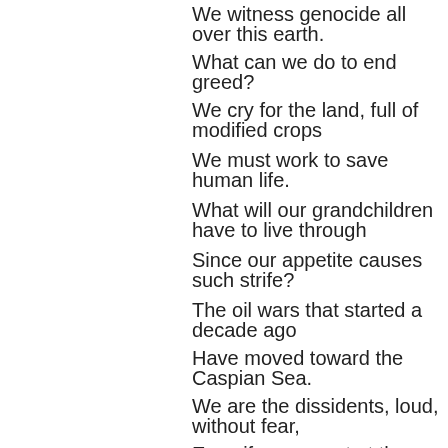We witness genocide all over this earth.
What can we do to end greed?
We cry for the land, full of modified crops
We must work to save human life.
What will our grandchildren have to live through
Since our appetite causes such strife?
The oil wars that started a decade ago
Have moved toward the Caspian Sea.
We are the dissidents, loud, without fear,
Even if we are cut at the knees.
We cry for the news they keep off TV